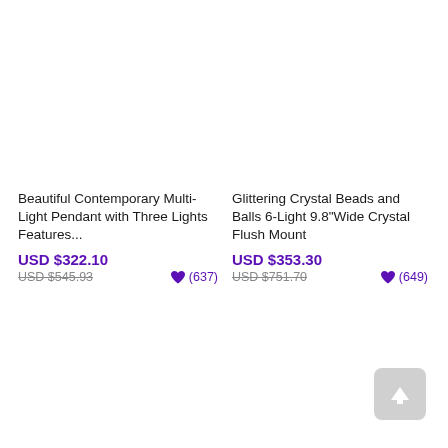Beautiful Contemporary Multi-Light Pendant with Three Lights Features...
USD $322.10
USD $545.93  ♥ (637)
Glittering Crystal Beads and Balls 6-Light 9.8"Wide Crystal Flush Mount
USD $353.30
USD $751.70  ♥ (649)